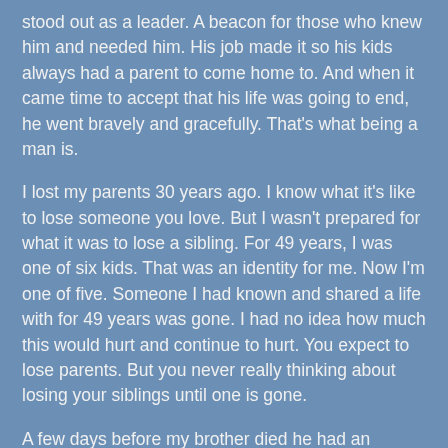stood out as a leader. A beacon for those who knew him and needed him. His job made it so his kids always had a parent to come home to. And when it came time to accept that his life was going to end, he went bravely and gracefully. That's what being a man is.
I lost my parents 30 years ago. I know what it's like to lose someone you love. But I wasn't prepared for what it was to lose a sibling. For 49 years, I was one of six kids. That was an identity for me. Now I'm one of five. Someone I had known and shared a life with for 49 years was gone. I had no idea how much this would hurt and continue to hurt. You expect to lose parents. But you never really thinking about losing your siblings until one is gone.
A few days before my brother died he had an episode that landed him in the hospital. It was a Monday night and I called R and told him to rush down to me via the subway so we could go see him together. J had mentioned a month earlier that he loved my chocolate chip cookies and my fried chicken. You think you're always going to have time to cook something up, but you never do. So I hurriedly made a batch